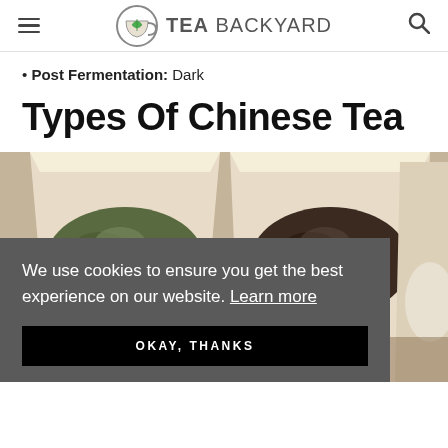TEA BACKYARD
Post Fermentation: Dark
Types Of Chinese Tea
[Figure (photo): Two paper bags filled with different types of loose leaf Chinese tea — green oolong on the left and dark black tea on the right — displayed on a wooden surface]
We use cookies to ensure you get the best experience on our website. Learn more
OKAY, THANKS